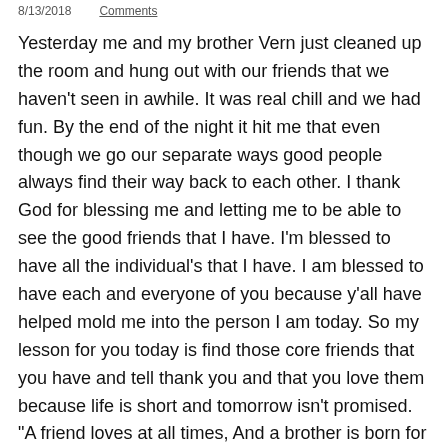8/13/2018   Comments
Yesterday me and my brother Vern just cleaned up the room and hung out with our friends that we haven't seen in awhile. It was real chill and we had fun. By the end of the night it hit me that even though we go our separate ways good people always find their way back to each other. I thank God for blessing me and letting me to be able to see the good friends that I have. I'm blessed to have all the individual's that I have. I am blessed to have each and everyone of you because y'all have helped mold me into the person I am today. So my lesson for you today is find those core friends that you have and tell thank you and that you love them because life is short and tomorrow isn't promised. "A friend loves at all times, And a brother is born for adversity" (Proverbs 17:17 NKJV). Showing